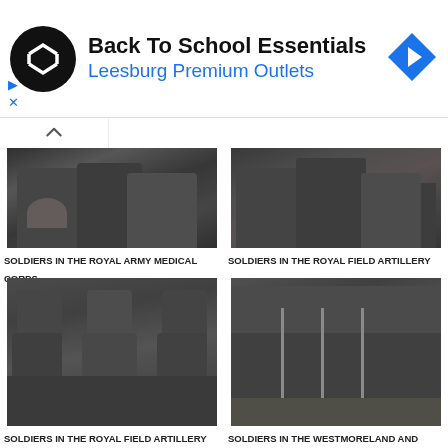[Figure (infographic): Advertisement banner: Back To School Essentials, Leesburg Premium Outlets, with circular logo and navigation arrow icon]
[Figure (photo): Black and white photograph of soldiers in the Royal Army Medical Corps (cropped, showing torsos)]
SOLDIERS IN THE ROYAL ARMY MEDICAL CORPS
[Figure (photo): Black and white photograph of soldiers in the Royal Field Artillery (cropped, showing torsos)]
SOLDIERS IN THE ROYAL FIELD ARTILLERY
[Figure (photo): Black and white group photograph of soldiers in the Royal Field Artillery, seated and standing in rows]
SOLDIERS IN THE ROYAL FIELD ARTILLERY
[Figure (photo): Black and white group photograph of soldiers in the Westmoreland and Cumberland Yeomanry, holding rifles]
SOLDIERS IN THE WESTMORELAND AND CUMBERLAND YEOMANRY
[Figure (photo): Black and white photograph (partially visible, bottom row left)]
[Figure (photo): Black and white photograph (partially visible, bottom row right)]